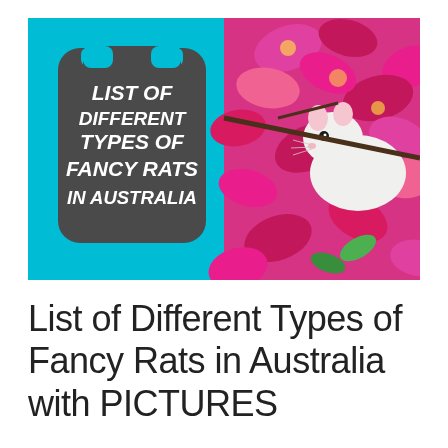[Figure (infographic): A banner image split into two halves. The left half has a cyan/teal background with a dark gray rounded shield/badge shape containing bold italic white text reading 'LIST OF DIFFERENT TYPES OF FANCY RATS IN AUSTRALIA'. The right half shows a close-up photo of a white fancy rat among bright pink flowers.]
List of Different Types of Fancy Rats in Australia with PICTURES